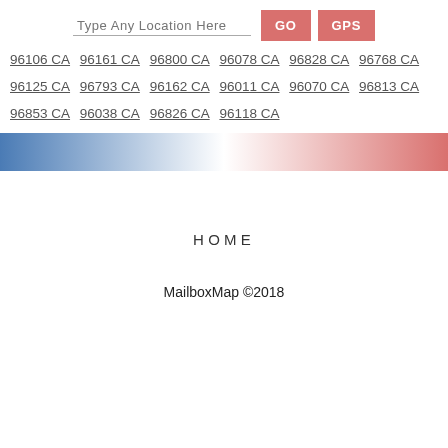[Figure (screenshot): Search bar with placeholder text 'Type Any Location Here' and two buttons labeled GO and GPS in salmon/red color]
96106 CA 96161 CA 96800 CA 96078 CA 96828 CA 96768 CA
96125 CA 96793 CA 96162 CA 96011 CA 96070 CA 96813 CA
96853 CA 96038 CA 96826 CA 96118 CA
[Figure (infographic): Horizontal gradient bar transitioning from blue on the left to white in the center to red/pink on the right]
HOME
MailboxMap ©2018